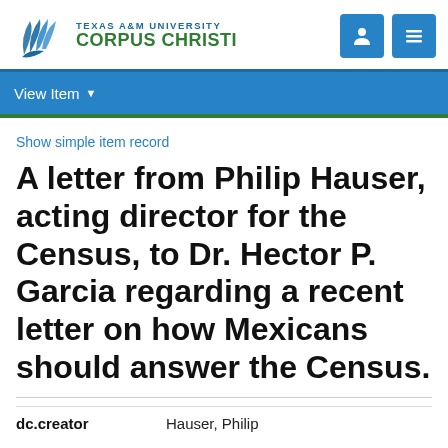[Figure (logo): Texas A&M University Corpus Christi logo with stylized bird/feather icon in blue and green]
View Item
Show simple item record
A letter from Philip Hauser, acting director for the Census, to Dr. Hector P. Garcia regarding a recent letter on how Mexicans should answer the Census.
| dc.creator | Hauser, Philip |